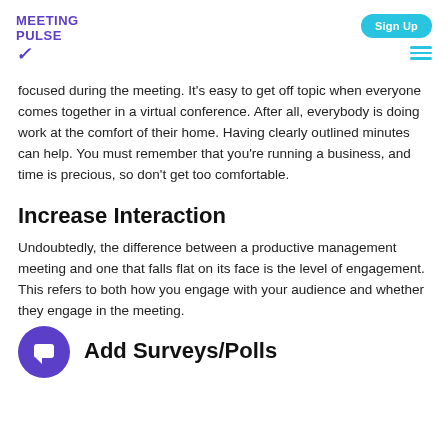MEETING PULSE
focused during the meeting. It's easy to get off topic when everyone comes together in a virtual conference. After all, everybody is doing work at the comfort of their home. Having clearly outlined minutes can help. You must remember that you're running a business, and time is precious, so don't get too comfortable.
Increase Interaction
Undoubtedly, the difference between a productive management meeting and one that falls flat on its face is the level of engagement. This refers to both how you engage with your audience and whether they engage in the meeting.
Add Surveys/Polls